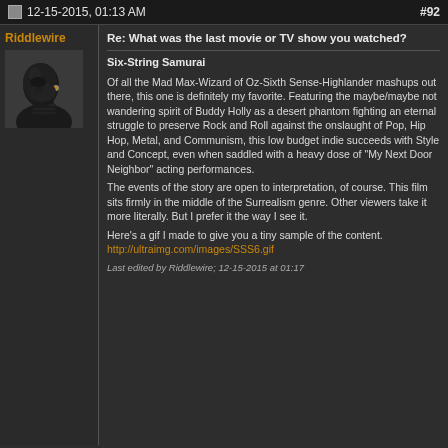12-15-2015, 01:13 AM   #92
Riddlewire
[Figure (photo): Black and white photo of a person wearing a black balaclava/mask and dark turtleneck, shown in profile/three-quarter view against a dark background]
Re: What was the last movie or TV show you watched?
Six-String Samurai
Of all the Mad Max-Wizard of Oz-Sixth Sense-Highlander mashups out there, this one is definitely my favorite. Featuring the maybe/maybe not wandering spirit of Buddy Holly as a desert phantom fighting an eternal struggle to preserve Rock and Roll against the onslaught of Pop, Hip Hop, Metal, and Communism, this low budget indie succeeds with Style and Concept, even when saddled with a heavy dose of "My Next Door Neighbor" acting performances.
The events of the story are open to interpretation, of course. This film sits firmly in the middle of the Surrealism genre. Other viewers take it more literally. But I prefer it the way I see it.
Here's a gif I made to give you a tiny sample of the content.
http://ultraimg.com/images/SSS6.gif
Last edited by Riddlewire; 12-15-2015 at 01:17